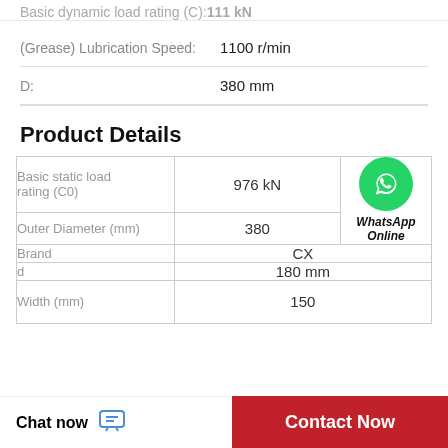Basic dynamic load rating (C): 111 kN
(Grease) Lubrication Speed: 1100 r/min
D: 380 mm
Product Details
| Property | Value |
| --- | --- |
| Basic static load rating (C0) | 976 kN |
| Outer Diameter (mm) | 380 |
| Brand | CX |
| d | 180 mm |
| Width (mm) | 150 |
[Figure (logo): WhatsApp Online button with green phone icon and italic bold text 'WhatsApp Online']
Chat now
Contact Now